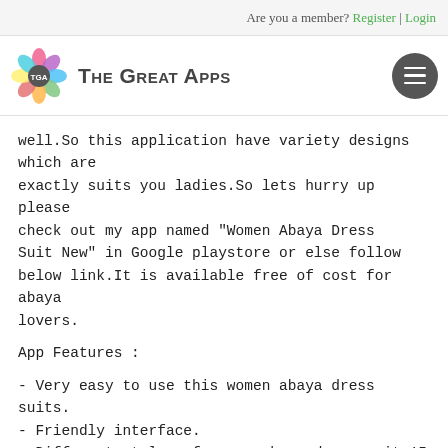Are you a member? Register | Login
[Figure (logo): The Great Apps logo with colorful flower and TGA initials, site name 'The Great Apps' in bold, menu hamburger icon on right]
well.So this application have variety designs which are exactly suits you ladies.So lets hurry up please check out my app named "Women Abaya Dress Suit New" in Google playstore or else follow below link.It is available free of cost for abaya lovers.
App Features :
- Very easy to use this women abaya dress suits.
- Friendly interface.
- Different styles of women abaya dress suit 15 sets provide.